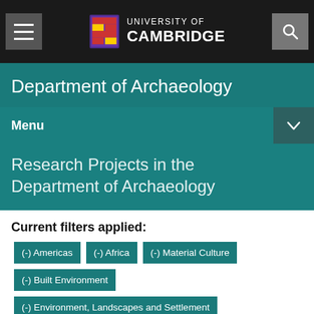University of Cambridge — Department of Archaeology
Department of Archaeology
Menu
Research Projects in the Department of Archaeology
Current filters applied:
(-) Americas
(-) Africa
(-) Material Culture
(-) Built Environment
(-) Environment, Landscapes and Settlement